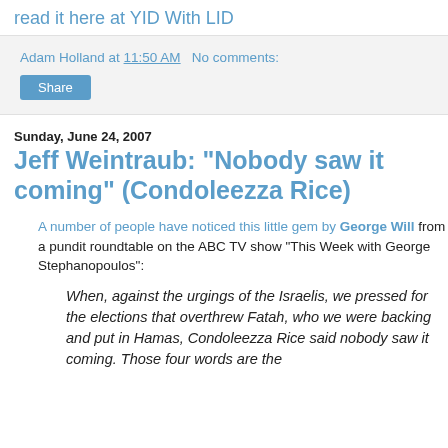read it here at YID With LID
Adam Holland at 11:50 AM   No comments:
Share
Sunday, June 24, 2007
Jeff Weintraub: "Nobody saw it coming" (Condoleezza Rice)
A number of people have noticed this little gem by George Will from a pundit roundtable on the ABC TV show "This Week with George Stephanopoulos":
When, against the urgings of the Israelis, we pressed for the elections that overthrew Fatah, who we were backing and put in Hamas, Condoleezza Rice said nobody saw it coming. Those four words are the